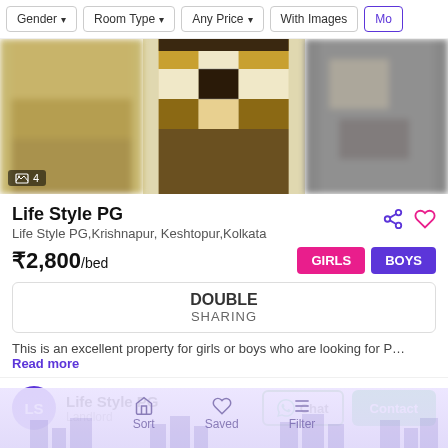Gender | Room Type | Any Price | With Images | Mo...
[Figure (photo): Three-panel photo strip showing a furnished PG room with patterned bedsheet; left and right panels blurred, center shows bed with decorative quilt. Badge showing image count '4'.]
Life Style PG
Life Style PG,Krishnapur, Keshtopur,Kolkata
₹2,800/bed
GIRLS  BOYS
DOUBLE
SHARING
This is an excellent property for girls or boys who are looking for P… Read more
Life Style PG
Landlord